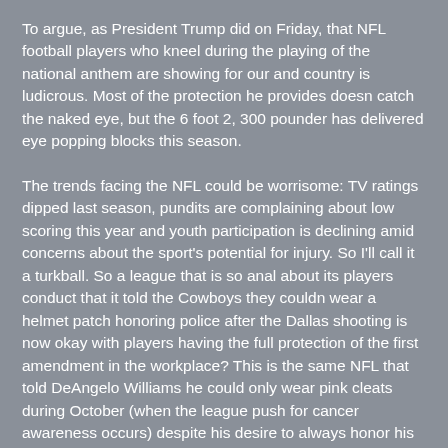To argue, as President Trump did on Friday, that NFL football players who kneel during the playing of the national anthem are showing for our and country is ludicrous. Most of the protection he provides doesn catch the naked eye, but the 6 foot 2, 300 pounder has delivered eye popping blocks this season.
The trends facing the NFL could be worrisome: TV ratings dipped last season, pundits are complaining about low scoring this year and youth participation is declining amid concerns about the sport's potential for injury. So I'll call it a turkball. So a league that is so anal about its players conduct that it told the Cowboys they couldn wear a helmet patch honoring police after the Dallas shooting is now okay with players having the full protection of the first amendment in the workplace? This is the same NFL that told DeAngelo Williams he could only wear pink cleats during October (when the league push for cancer awareness occurs) despite his desire to always honor his mother who died of breast cancer, and the same league that refused to let Avery Williamson wear specially designed 9/11 cleats.
We reserve the right to edit a comment that is quoted or excerpted in an article. We're getting timing down between him and his receivers. While the results of the Cybex test don't